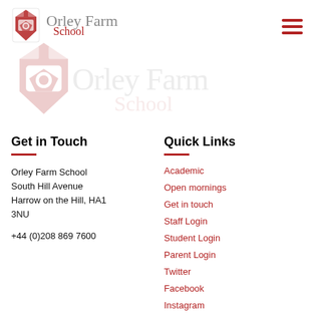[Figure (logo): Orley Farm School logo with crest and text 'Orley Farm School' in header]
[Figure (logo): Large watermark of Orley Farm School crest and text in the background]
Get in Touch
Orley Farm School South Hill Avenue Harrow on the Hill, HA1 3NU
+44 (0)208 869 7600
Quick Links
Academic
Open mornings
Get in touch
Staff Login
Student Login
Parent Login
Twitter
Facebook
Instagram